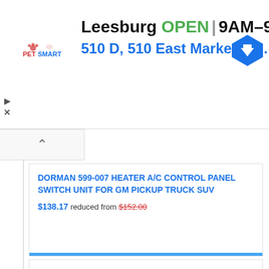[Figure (screenshot): PetSmart advertisement banner showing Leesburg store open hours 9AM-9PM and address 510 D, 510 East Market Str.. with navigation arrow icon]
DORMAN 599-007 HEATER A/C CONTROL PANEL SWITCH UNIT FOR GM PICKUP TRUCK SUV
$138.17 reduced from $152.00
[Figure (photo): Black heater/AC climate control unit product photo]
1993 - 1997 VOLVO 850 A/C HEATER CLIMATE TEMPERATURE CONTROL UNIT P: 9134988 OE